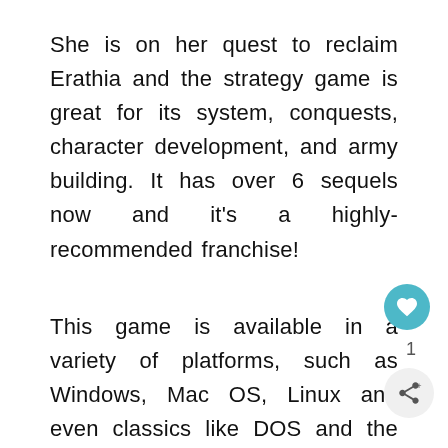She is on her quest to reclaim Erathia and the strategy game is great for its system, conquests, character development, and army building. It has over 6 sequels now and it's a highly-recommended franchise!
This game is available in a variety of platforms, such as Windows, Mac OS, Linux and even classics like DOS and the GBA color.